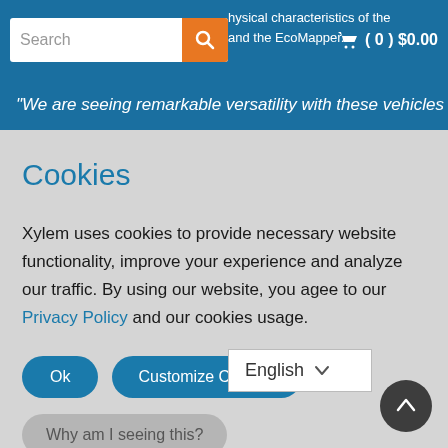Search | (0) $0.00 | physical characteristics of the river system, using the MBOX and the EcoMapper.
“We are seeing remarkable versatility with these vehicles in
Cookies
Xylem uses cookies to provide necessary website functionality, improve your experience and analyze our traffic. By using our website, you agee to our Privacy Policy and our cookies usage.
Ok | Customize Cookies
Why am I seeing this?
English